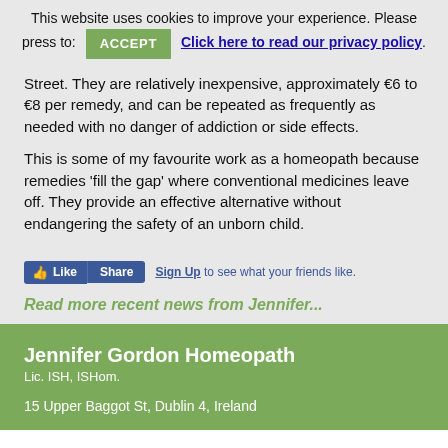This website uses cookies to improve your experience. Please press to: ACCEPT Click here to read our privacy policy
Street. They are relatively inexpensive, approximately €6 to €8 per remedy, and can be repeated as frequently as needed with no danger of addiction or side effects.
This is some of my favourite work as a homeopath because remedies 'fill the gap' where conventional medicines leave off. They provide an effective alternative without endangering the safety of an unborn child.
[Figure (screenshot): Facebook Like and Share buttons with Sign Up link text]
Read more recent news from Jennifer...
Jennifer Gordon Homeopath
Lic. ISH, ISHom.

15 Upper Baggot St, Dublin 4, Ireland